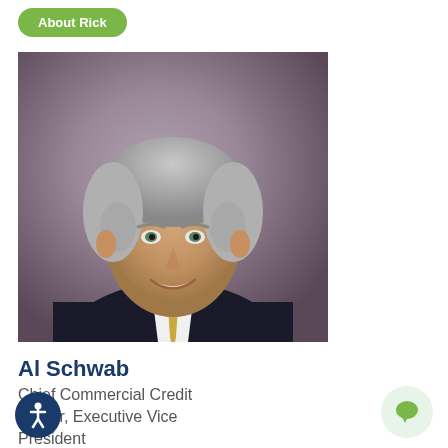About Rick
[Figure (photo): Professional headshot of Al Schwab, a middle-aged man with gray hair wearing a dark suit, white shirt, and gold/yellow tie, against a muted purple-gray background]
Al Schwab
Chief Commercial Credit Officer, Executive Vice President